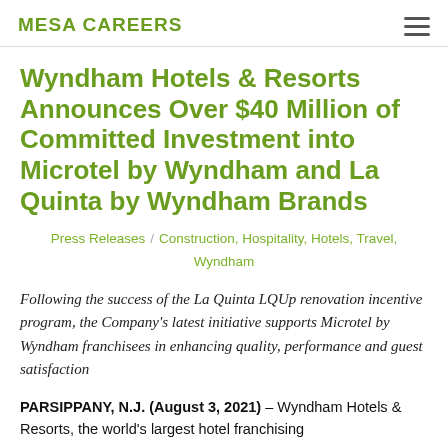MESA CAREERS
Wyndham Hotels & Resorts Announces Over $40 Million of Committed Investment into Microtel by Wyndham and La Quinta by Wyndham Brands
Press Releases / Construction, Hospitality, Hotels, Travel, Wyndham
Following the success of the La Quinta LQUp renovation incentive program, the Company's latest initiative supports Microtel by Wyndham franchisees in enhancing quality, performance and guest satisfaction
PARSIPPANY, N.J. (August 3, 2021) – Wyndham Hotels & Resorts, the world's largest hotel franchising